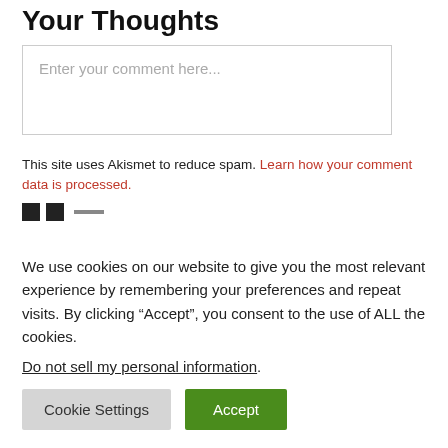Your Thoughts
[Figure (other): Comment text area input box with placeholder text 'Enter your comment here...']
This site uses Akismet to reduce spam. Learn how your comment data is processed.
[Figure (other): Two small black square icons and a dash/line icon partially visible]
We use cookies on our website to give you the most relevant experience by remembering your preferences and repeat visits. By clicking “Accept”, you consent to the use of ALL the cookies.
Do not sell my personal information.
Cookie Settings   Accept